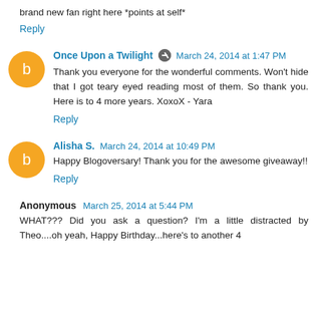brand new fan right here *points at self*
Reply
Once Upon a Twilight  March 24, 2014 at 1:47 PM
Thank you everyone for the wonderful comments. Won't hide that I got teary eyed reading most of them. So thank you. Here is to 4 more years. XoxoX - Yara
Reply
Alisha S.  March 24, 2014 at 10:49 PM
Happy Blogoversary! Thank you for the awesome giveaway!!
Reply
Anonymous  March 25, 2014 at 5:44 PM
WHAT??? Did you ask a question? I'm a little distracted by Theo....oh yeah, Happy Birthday...here's to another 4